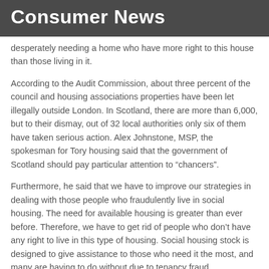Consumer News
desperately needing a home who have more right to this house than those living in it.
According to the Audit Commission, about three percent of the council and housing associations properties have been let illegally outside London. In Scotland, there are more than 6,000, but to their dismay, out of 32 local authorities only six of them have taken serious action. Alex Johnstone, MSP, the spokesman for Tory housing said that the government of Scotland should pay particular attention to “chancers”.
Furthermore, he said that we have to improve our strategies in dealing with those people who fraudulently live in social housing. The need for available housing is greater than ever before. Therefore, we have to get rid of people who don’t have any right to live in this type of housing. Social housing stock is designed to give assistance to those who need it the most, and many are having to do without due to tenancy fraud.